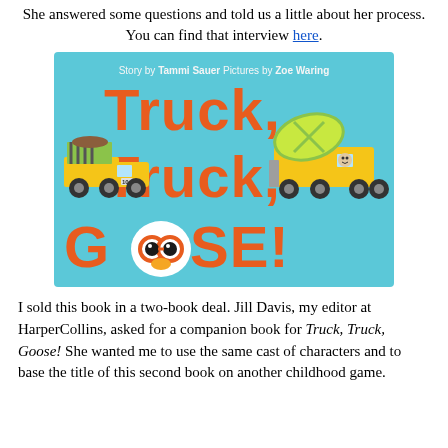She answered some questions and told us a little about her process. You can find that interview here.
[Figure (illustration): Book cover for 'Truck, Truck, Goose!' Story by Tammi Sauer, Pictures by Zoe Waring. Blue background with cartoon trucks and a white goose character with red glasses.]
I sold this book in a two-book deal. Jill Davis, my editor at HarperCollins, asked for a companion book for Truck, Truck, Goose! She wanted me to use the same cast of characters and to base the title of this second book on another childhood game.